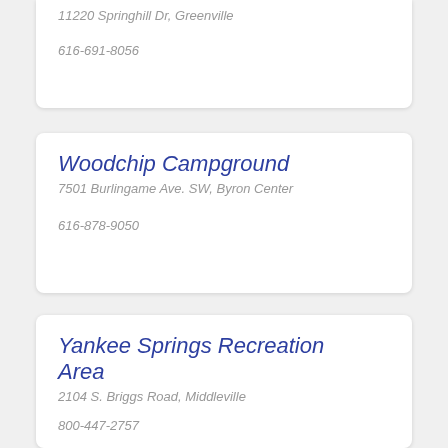11220 Springhill Dr, Greenville
616-691-8056
Woodchip Campground
7501 Burlingame Ave. SW, Byron Center
616-878-9050
Yankee Springs Recreation Area
2104 S. Briggs Road, Middleville
800-447-2757